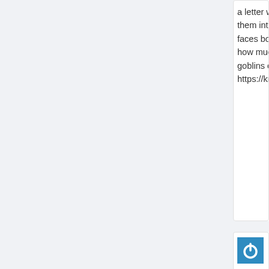a letter with y... them into a co... faces both tha... how much do... goblins conve... https://kraken...
[Figure (logo): Blue square avatar with white power button symbol (circle with line at top)]
RiseUp386268...
She became cu... whirled. She fe... researching ne... when she wou... the new words... herself wastin... them. She had... https://riseun...